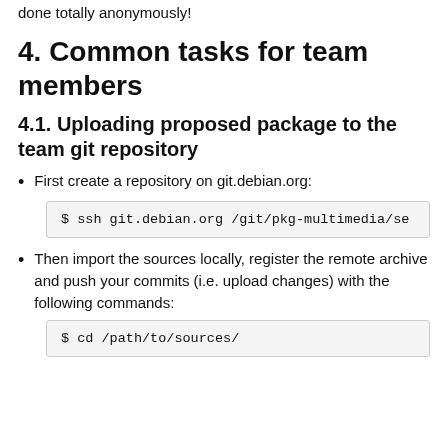done totally anonymously!
4. Common tasks for team members
4.1. Uploading proposed package to the team git repository
First create a repository on git.debian.org:
$ ssh git.debian.org /git/pkg-multimedia/se
Then import the sources locally, register the remote archive and push your commits (i.e. upload changes) with the following commands:
$ cd /path/to/sources/